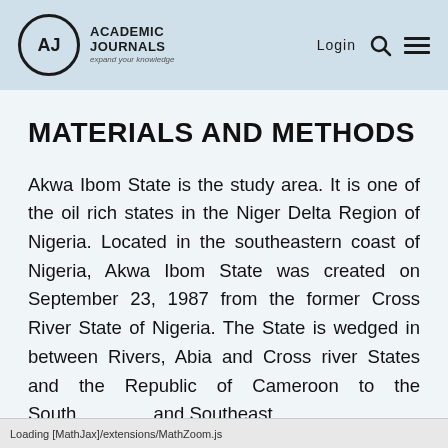Academic Journals — expand your knowledge | Login
MATERIALS AND METHODS
Akwa Ibom State is the study area. It is one of the oil rich states in the Niger Delta Region of Nigeria. Located in the southeastern coast of Nigeria, Akwa Ibom State was created on September 23, 1987 from the former Cross River State of Nigeria. The State is wedged in between Rivers, Abia and Cross river States and the Republic of Cameroon to the South and Northeast and Southeast
Loading [MathJax]/extensions/MathZoom.js